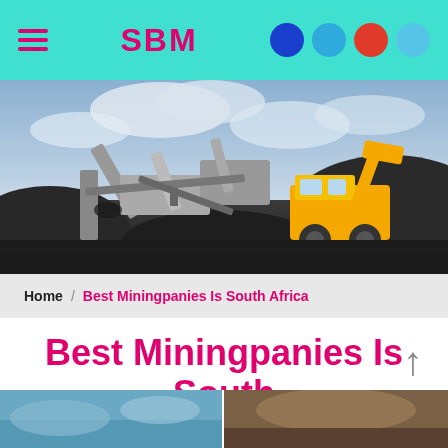SBM
[Figure (photo): Mining site with crushing/processing equipment and a yellow front loader, large piles of dark aggregate/coal, overcast sky]
Home / Best Miningpanies Is South Africa
Best Miningpanies Is South Africa
[Figure (photo): Thumbnail image strip at bottom of page showing two small photos]